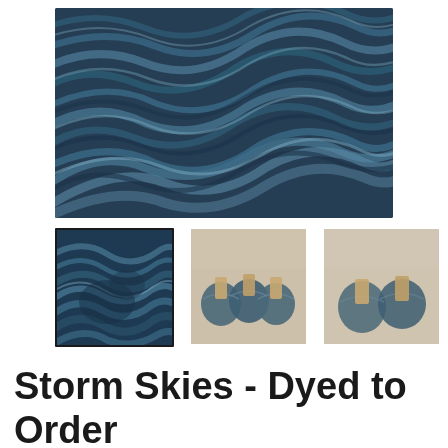[Figure (photo): Close-up photograph of blue-grey hand-dyed yarn skeins with wavy, flowing strands in various shades of storm blue and slate]
[Figure (photo): Thumbnail 1 (selected, with border): Close-up of blue-grey yarn skeins piled together]
[Figure (photo): Thumbnail 2: Three small balls/cakes of blue-grey yarn with wooden labels on a light surface]
[Figure (photo): Thumbnail 3: Two small balls/cakes of blue-grey yarn with wooden labels on a light surface]
Storm Skies - Dyed to Order